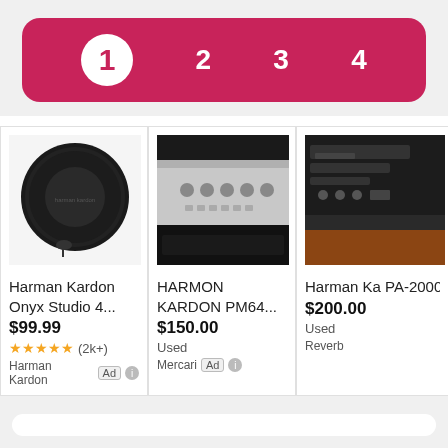[Figure (screenshot): Pagination bar with pages 1 (active/selected in white circle), 2, 3, 4 on pink/crimson background]
[Figure (photo): Harman Kardon Onyx Studio 4 speaker - black round speaker product photo]
Harman Kardon Onyx Studio 4...
$99.99
★★★★★ (2k+)
Harman Kardon  Ad ⓘ
[Figure (photo): HARMON KARDON PM64 amplifier - silver amplifier on black surface]
HARMON KARDON PM64...
$150.00
Used
Mercari  Ad ⓘ
[Figure (photo): Harman Kardon PA-2000 B - back panel of device, partially cropped]
Harman Ka PA-2000 B
$200.00
Used
Reverb